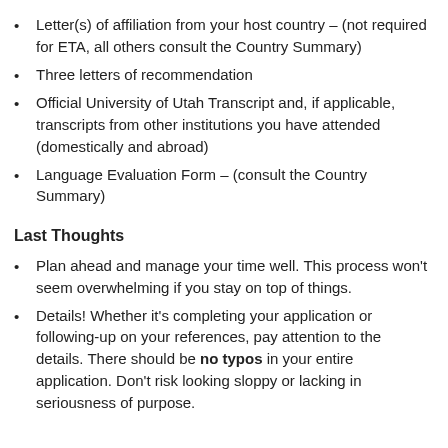Letter(s) of affiliation from your host country – (not required for ETA, all others consult the Country Summary)
Three letters of recommendation
Official University of Utah Transcript and, if applicable, transcripts from other institutions you have attended (domestically and abroad)
Language Evaluation Form – (consult the Country Summary)
Last Thoughts
Plan ahead and manage your time well. This process won't seem overwhelming if you stay on top of things.
Details! Whether it's completing your application or following-up on your references, pay attention to the details. There should be no typos in your entire application. Don't risk looking sloppy or lacking in seriousness of purpose.